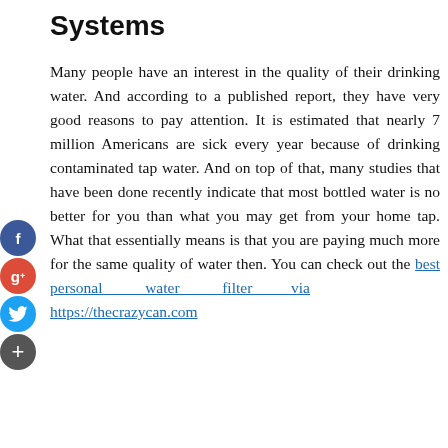Systems
Many people have an interest in the quality of their drinking water. And according to a published report, they have very good reasons to pay attention. It is estimated that nearly 7 million Americans are sick every year because of drinking contaminated tap water. And on top of that, many studies that have been done recently indicate that most bottled water is no better for you than what you may get from your home tap. What that essentially means is that you are paying much more for the same quality of water then. You can check out the best personal water filter via https://thecrazycan.com